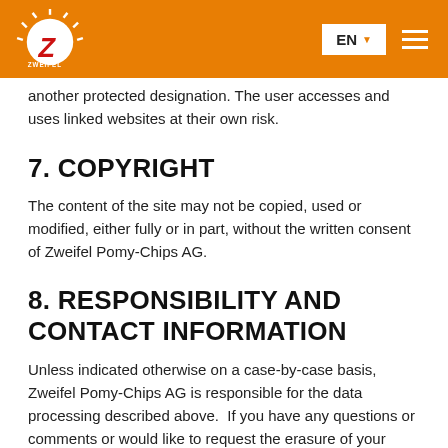Zweifel Pomy-Chips AG — EN
another protected designation. The user accesses and uses linked websites at their own risk.
7. COPYRIGHT
The content of the site may not be copied, used or modified, either fully or in part, without the written consent of Zweifel Pomy-Chips AG.
8. RESPONSIBILITY AND CONTACT INFORMATION
Unless indicated otherwise on a case-by-case basis, Zweifel Pomy-Chips AG is responsible for the data processing described above.  If you have any questions or comments or would like to request the erasure of your data, please contact our customer service team: